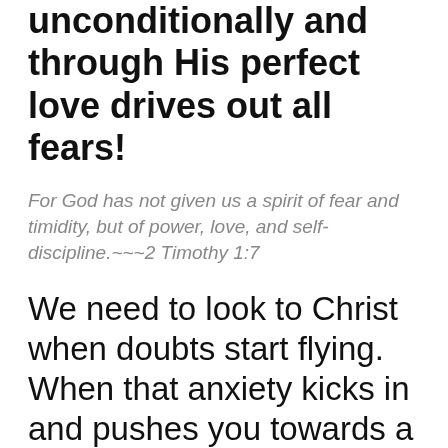unconditionally and through His perfect love drives out all fears!
For God has not given us a spirit of fear and timidity, but of power, love, and self-discipline.~~~2 Timothy 1:7
We need to look to Christ when doubts start flying. When that anxiety kicks in and pushes you towards a full-blown panic attack. When Satan whispers in your ear that “you’re not good enough.” Look to Christ!!! He will give you what you